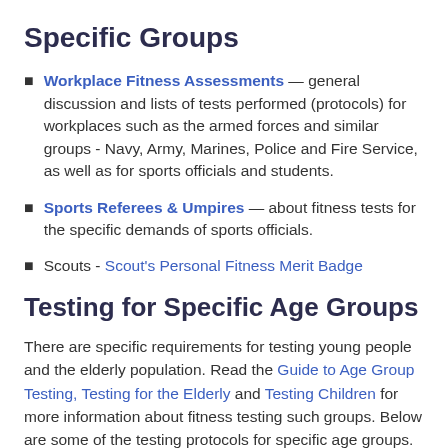Specific Groups
Workplace Fitness Assessments — general discussion and lists of tests performed (protocols) for workplaces such as the armed forces and similar groups - Navy, Army, Marines, Police and Fire Service, as well as for sports officials and students.
Sports Referees & Umpires — about fitness tests for the specific demands of sports officials.
Scouts - Scout's Personal Fitness Merit Badge
Testing for Specific Age Groups
There are specific requirements for testing young people and the elderly population. Read the Guide to Age Group Testing, Testing for the Elderly and Testing Children for more information about fitness testing such groups. Below are some of the testing protocols for specific age groups.